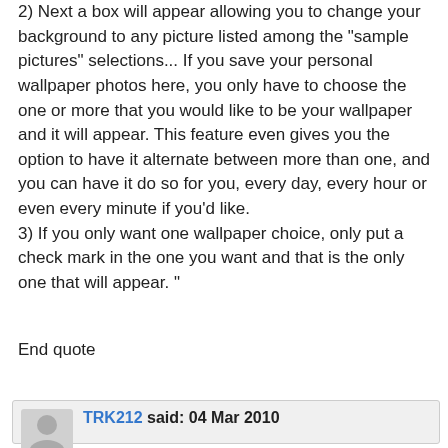2) Next a box will appear allowing you to change your background to any picture listed among the "sample pictures" selections... If you save your personal wallpaper photos here, you only have to choose the one or more that you would like to be your wallpaper and it will appear. This feature even gives you the option to have it alternate between more than one, and you can have it do so for you, every day, every hour or even every minute if you'd like.
3) If you only want one wallpaper choice, only put a check mark in the one you want and that is the only one that will appear. "
End quote
TRK212 said: 04 Mar 2010